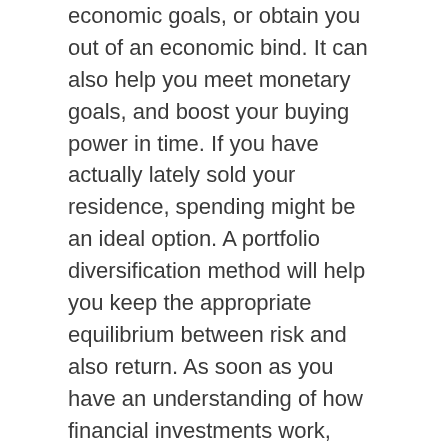economic goals, or obtain you out of an economic bind. It can also help you meet monetary goals, and boost your buying power in time. If you have actually lately sold your residence, spending might be an ideal option. A portfolio diversification method will help you keep the appropriate equilibrium between risk and also return. As soon as you have an understanding of how financial investments work, you'll be well on your way to investing.
Purchasing stocks is one of one of the most prominent kinds of financial investment, with greater than 56 percent of Americans having some cash bought the stock exchange. Most supply financial investments, nonetheless, are in retirement accounts or mutual funds. While this may seem complicated, investing in stocks is one of the most typical type of investment in